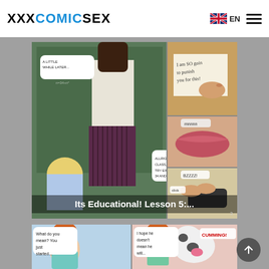XXXCOMICSEX  EN
[Figure (illustration): Adult comic page showing classroom scene with teacher and student panels, titled 'Its Educational! Lesson 5...']
[Figure (illustration): Adult animated comic page showing cartoon characters with speech bubbles]